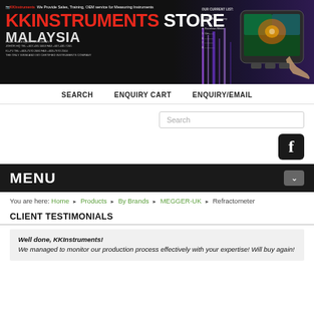[Figure (screenshot): KKInstruments Store Malaysia banner with red and white logo text, contact details, and thermal imaging device on dark background with purple gradient]
SEARCH   ENQUIRY CART   ENQUIRY/EMAIL
[Figure (other): Search input box with placeholder text 'Search']
[Figure (logo): Facebook social media icon - white F on black rounded square background]
MENU
You are here: Home ▶ Products ▶ By Brands ▶ MEGGER-UK ▶ Refractometer
CLIENT TESTIMONIALS
Well done, KKInstruments! We managed to monitor our production process effectively with your expertise! Will buy again!